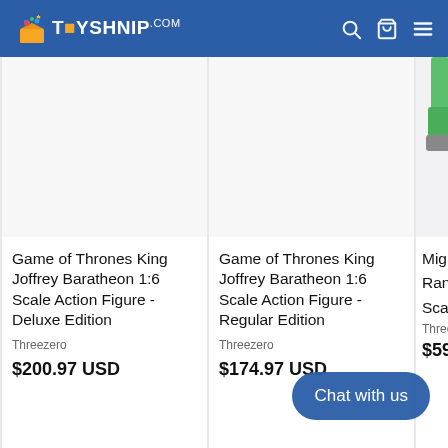TOYSHNIP.com
Game of Thrones King Joffrey Baratheon 1:6 Scale Action Figure - Deluxe Edition
Threezero
$200.97 USD
Game of Thrones King Joffrey Baratheon 1:6 Scale Action Figure - Regular Edition
Threezero
$174.97 USD
Mighty Rangers Scale A
Threezero
$593.9...
Chat with us